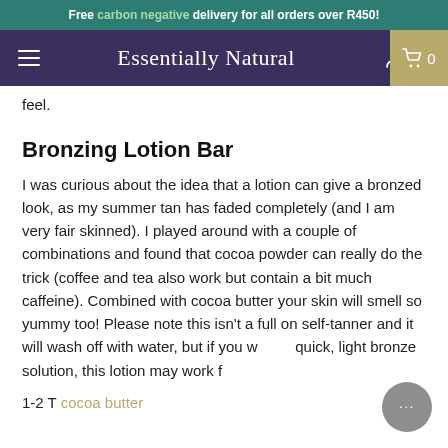Free carbon negative delivery for all orders over R450!
Essentially Natural
feel.
Bronzing Lotion Bar
I was curious about the idea that a lotion can give a bronzed look, as my summer tan has faded completely (and I am very fair skinned). I played around with a couple of combinations and found that cocoa powder can really do the trick (coffee and tea also work but contain a bit much caffeine). Combined with cocoa butter your skin will smell so yummy too! Please note this isn't a full on self-tanner and it will wash off with water, but if you want a quick, light bronze solution, this lotion may work for you.
1-2 T cocoa butter